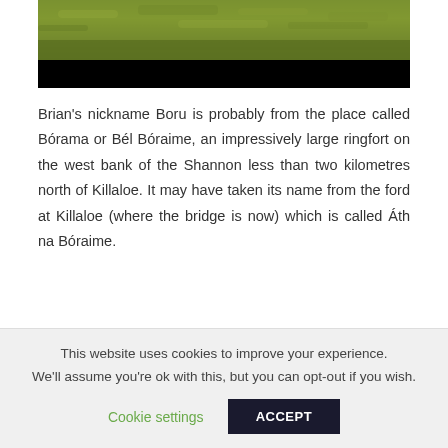[Figure (photo): Photograph of a grassy hillside or ringfort landscape, with green grass visible at top and a black band at the bottom of the image.]
Brian's nickname Boru is probably from the place called Bórama or Bél Bóraime, an impressively large ringfort on the west bank of the Shannon less than two kilometres north of Killaloe. It may have taken its name from the ford at Killaloe (where the bridge is now) which is called Áth na Bóraime.
This website uses cookies to improve your experience. We'll assume you're ok with this, but you can opt-out if you wish. Cookie settings ACCEPT